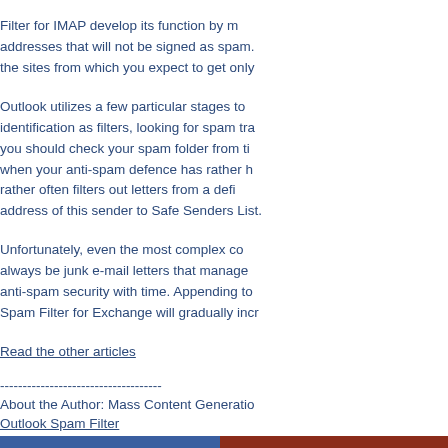Filter for IMAP develop its function by maintaining lists of addresses that will not be signed as spam. You can include addresses of the sites from which you expect to get only legitimate mails.
Outlook utilizes a few particular stages to provide spam identification as filters, looking for spam traits in e-mails. Still, you should check your spam folder from time to time especially when your anti-spam defence has rather high sensitivity and rather often filters out letters from a definite sender, add the address of this sender to Safe Senders List.
Unfortunately, even the most complex combinations will always be junk e-mail letters that manage to sneak through the anti-spam security with time. Appending to the Blacklist in the Spam Filter for Exchange will gradually increase its effectiveness.
Read the other articles
------------------------------------
About the Author: Mass Content Generation
Outlook Spam Filter